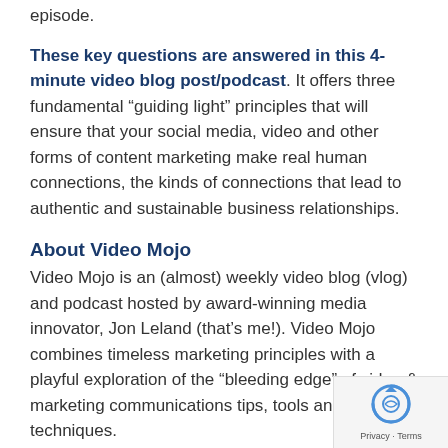episode.
These key questions are answered in this 4-minute video blog post/podcast. It offers three fundamental “guiding light” principles that will ensure that your social media, video and other forms of content marketing make real human connections, the kinds of connections that lead to authentic and sustainable business relationships.
About Video Mojo
Video Mojo is an (almost) weekly video blog (vlog) and podcast hosted by award-winning media innovator, Jon Leland (that’s me!). Video Mojo combines timeless marketing principles with a playful exploration of the “bleeding edge” of video & marketing communications tips, tools and techniques.
[Figure (other): reCAPTCHA privacy badge with circular arrow icon and Privacy - Terms text]